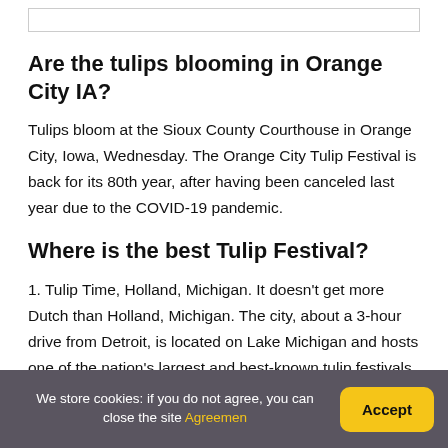Are the tulips blooming in Orange City IA?
Tulips bloom at the Sioux County Courthouse in Orange City, Iowa, Wednesday. The Orange City Tulip Festival is back for its 80th year, after having been canceled last year due to the COVID-19 pandemic.
Where is the best Tulip Festival?
1. Tulip Time, Holland, Michigan. It doesn't get more Dutch than Holland, Michigan. The city, about a 3-hour drive from Detroit, is located on Lake Michigan and hosts one of the nation's largest and best‑known tulip festivals each year.
We store cookies: if you do not agree, you can close the site Agreemen  Accept